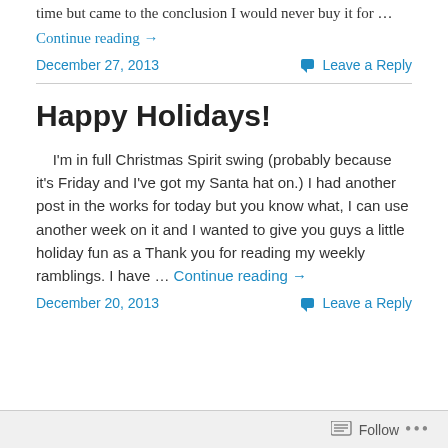time but came to the conclusion I would never buy it for …
Continue reading →
December 27, 2013
Leave a Reply
Happy Holidays!
I'm in full Christmas Spirit swing (probably because it's Friday and I've got my Santa hat on.) I had another post in the works for today but you know what, I can use another week on it and I wanted to give you guys a little holiday fun as a Thank you for reading my weekly ramblings. I have … Continue reading →
December 20, 2013
Leave a Reply
Follow